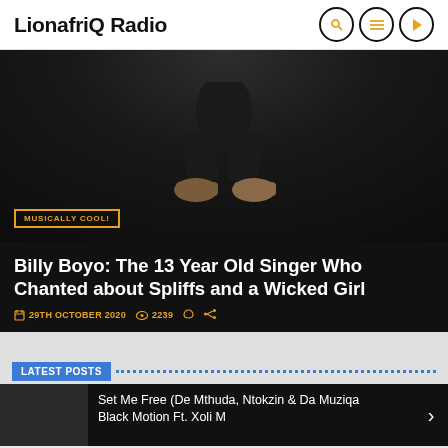LionafriQ Radio
[Figure (photo): Dark background photo showing lower body of a person crouching, wearing dark pants and brown boots. Badge overlay reads MUSICALLY COOL!]
Billy Boyo: The 13 Year Old Singer Who Chanted about Spliffs and a Wicked Girl
29TH OCTOBER 2020   2239
LATEST POSTS
Set Me Free (De Mthuda, Ntokzin & Da Muziqa Black Motion Ft. Xoli M